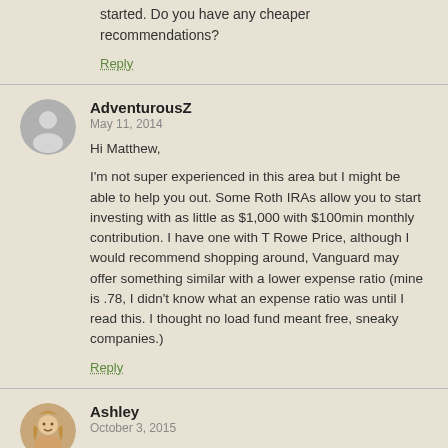started. Do you have any cheaper recommendations?
Reply
AdventurousZ
May 11, 2014
Hi Matthew,

I'm not super experienced in this area but I might be able to help you out. Some Roth IRAs allow you to start investing with as little as $1,000 with $100min monthly contribution. I have one with T Rowe Price, although I would recommend shopping around, Vanguard may offer something similar with a lower expense ratio (mine is .78, I didn't know what an expense ratio was until I read this. I thought no load fund meant free, sneaky companies.)
Reply
Ashley
October 3, 2015
I have a similar question- $3000 to get started is a big investment for me at this point. Did you find